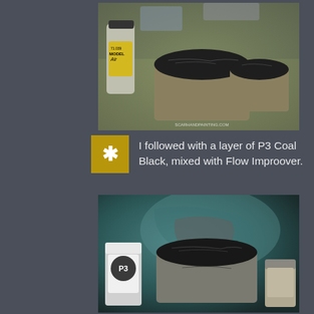[Figure (photo): Photo of miniature bases coated in dark paint alongside paint bottles including Vallejo Model Air 71.039, on a reflective surface]
I followed with a layer of P3 Coal Black, mixed with Flow Improover.
[Figure (photo): Photo of miniature bases coated in coal black paint alongside P3 paint bottles, on a blue-teal background with artwork visible]